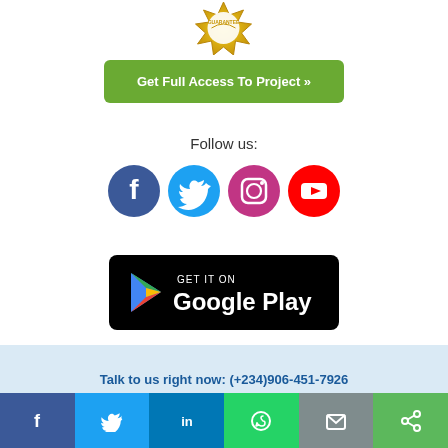[Figure (illustration): Gold guarantee seal/badge at top center, partially cropped]
[Figure (other): Green button labeled 'Get Full Access To Project »']
Follow us:
[Figure (illustration): Social media icons row: Facebook (blue circle), Twitter (light blue circle), Instagram (purple circle), YouTube (red circle)]
[Figure (illustration): Google Play store badge on black background with play icon]
Talk to us right now: (+234)906-451-7926 (Call/WhatsApp)
[Figure (illustration): Social share bar at bottom: Facebook (blue), Twitter (light blue), LinkedIn (blue), WhatsApp (green), Email (gray), Share (green)]